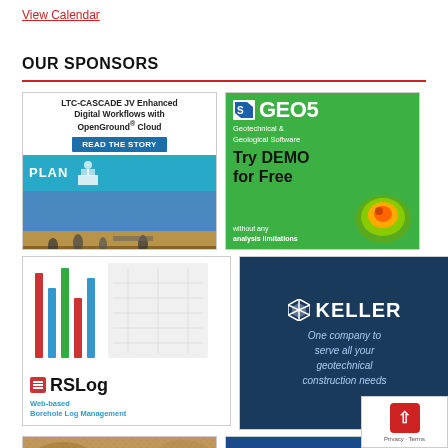View Calendar
OUR SPONSORS
[Figure (advertisement): LTC-CASCADE JV Enhanced Digital Workflows with OpenGround Cloud - Read The Story - Plan - Bentley advertisement]
[Figure (advertisement): GEO5 Geotechnical & Geological Software - Try DEMO for Free without any analysis limitations]
[Figure (advertisement): RSLog Web-based Borehole Log Management advertisement with colorful bar chart]
[Figure (advertisement): KELLER - One company to serve all your geotechnical construction needs]
[Figure (photo): Partial bottom-left sponsor ad - sandy/earth texture]
[Figure (advertisement): Partial bottom-right sponsor ad - blue background]